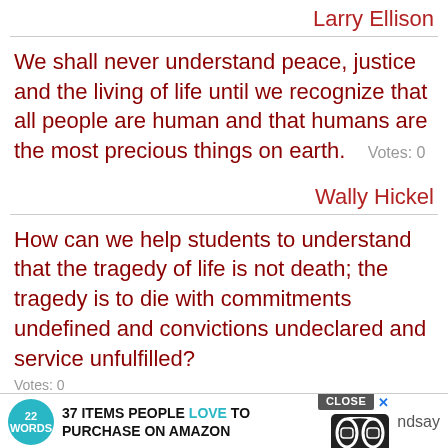Larry Ellison
We shall never understand peace, justice and the living of life until we recognize that all people are human and that humans are the most precious things on earth.  Votes: 0
Wally Hickel
How can we help students to understand that the tragedy of life is not death; the tragedy is to die with commitments undefined and convictions undeclared and service unfulfilled?
Votes: 0
[Figure (other): Advertisement banner: 22 Words logo, '37 ITEMS PEOPLE LOVE TO PURCHASE ON AMAZON', headphones image, CLOSE button, X button, partial text 'ndsay']
But if you don't understand that story is character and not just idea, you will not be able